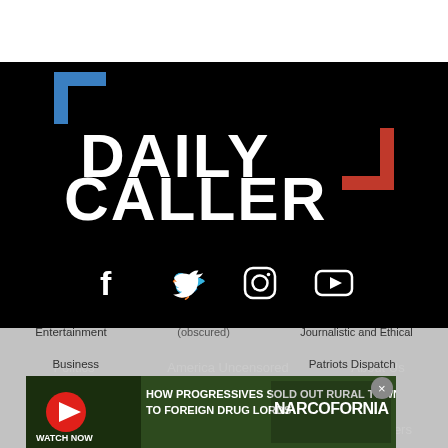[Figure (logo): Daily Caller logo on black background with blue bracket top-left and red bracket bottom-right, white bold text DAILY CALLER]
[Figure (infographic): Social media icons row: Facebook, Twitter, Instagram, YouTube - white icons on black background]
Politics
America Uncensored
About Us
US
The David Hookstead Show
FAQ
Opinion
The Facts
Newsletters
Entertainment
Journalistic and Ethical
Business
Patriots Dispatch
[Figure (screenshot): Advertisement banner: HOW PROGRESSIVES SOLD OUT RURAL TOWNS TO FOREIGN DRUG LORDS - NARCOFORNIA - WATCH NOW button]